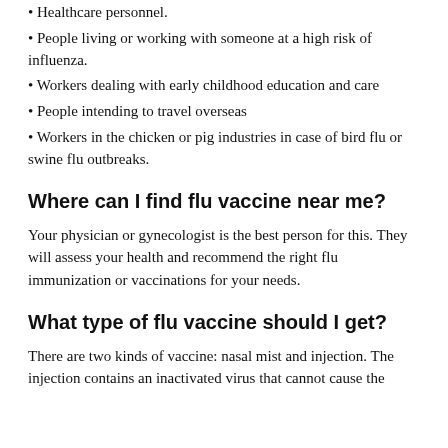Healthcare personnel.
People living or working with someone at a high risk of influenza.
Workers dealing with early childhood education and care
People intending to travel overseas
Workers in the chicken or pig industries in case of bird flu or swine flu outbreaks.
Where can I find flu vaccine near me?
Your physician or gynecologist is the best person for this. They will assess your health and recommend the right flu immunization or vaccinations for your needs.
What type of flu vaccine should I get?
There are two kinds of vaccine: nasal mist and injection. The injection contains an inactivated virus that cannot cause the